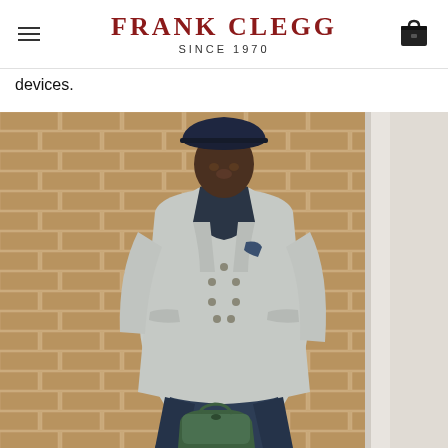FRANK CLEGG SINCE 1970
devices.
[Figure (photo): A man wearing a navy fedora hat and a light grey double-breasted blazer over a dark navy shirt, with dark jeans, holding a green leather bag. He is standing in front of a tan brick wall with a white column visible to the right.]